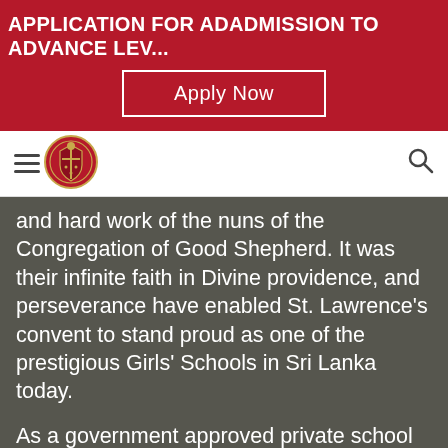APPLICATION FOR ADADMISSION TO ADVANCE LEV...
Apply Now
[Figure (logo): St. Lawrence's Convent school crest/logo — circular badge with red and gold design]
and hard work of the nuns of the Congregation of Good Shepherd. It was their infinite faith in Divine providence, and perseverance have enabled St. Lawrence's convent to stand proud as one of the prestigious Girls' Schools in Sri Lanka today.
As a government approved private school that follows the National policy of education, St. Lawrence's Convent will continue to strive to achieve the objectives